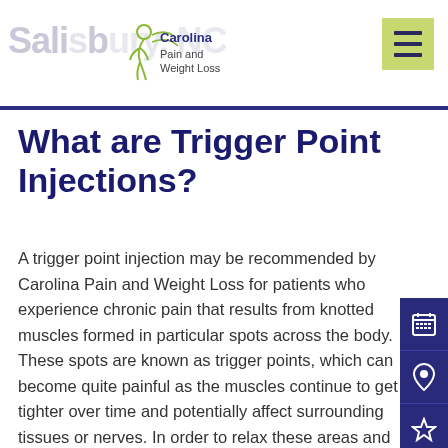Salisbury, NC – Carolina Pain and Weight Loss
What are Trigger Point Injections?
A trigger point injection may be recommended by Carolina Pain and Weight Loss for patients who experience chronic pain that results from knotted muscles formed in particular spots across the body. These spots are known as trigger points, which can become quite painful as the muscles continue to get tighter over time and potentially affect surrounding tissues or nerves. In order to relax these areas and provide the patient with effective relief from their pain symptoms, a trigger point injection is given in-office by our providers.